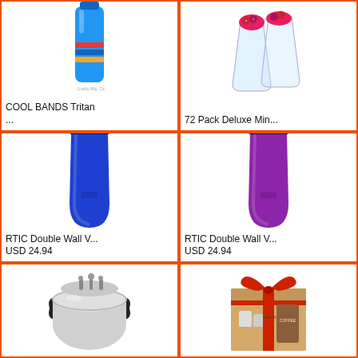[Figure (photo): Blue Tritan water bottle with colorful bands around it, on white background. Small watermark text visible.]
COOL BANDS Tritan
...
[Figure (photo): Clear glass dessert cups with fruit/berry topping, double-wall style, on white background.]
72 Pack Deluxe Min...
[Figure (photo): Blue RTIC stainless steel double wall vacuum insulated tumbler cup on white background.]
RTIC Double Wall V...
USD 24.94
[Figure (photo): Purple RTIC stainless steel double wall vacuum insulated tumbler cup on white background.]
RTIC Double Wall V...
USD 24.94
[Figure (photo): Silver pressure cooker with black handles and valve on top, on white background.]
[Figure (photo): Kraft gift box with red ribbon bow, containing coffee/tea gift set items including a bag of coffee and small accessories, with 'I Love You' text on box.]